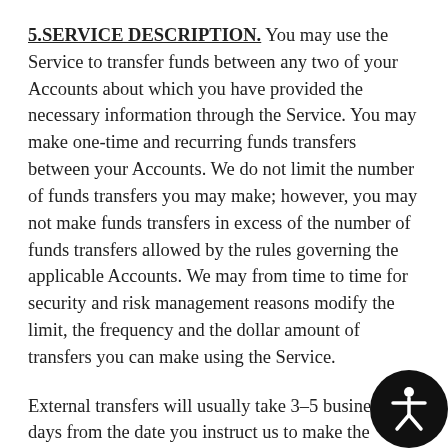5.SERVICE DESCRIPTION. You may use the Service to transfer funds between any two of your Accounts about which you have provided the necessary information through the Service. You may make one-time and recurring funds transfers between your Accounts. We do not limit the number of funds transfers you may make; however, you may not make funds transfers in excess of the number of funds transfers allowed by the rules governing the applicable Accounts. We may from time to time for security and risk management reasons modify the limit, the frequency and the dollar amount of transfers you can make using the Service.
External transfers will usually take 3–5 business days from the date you instruct us to make the transfer from your account with us to your account with your other financial institution. You understand and agree that the terms of funds transfer will...